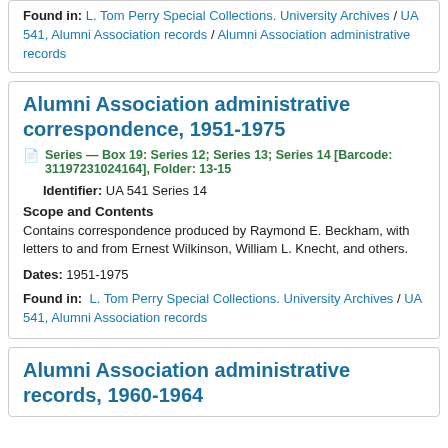Found in: L. Tom Perry Special Collections. University Archives / UA 541, Alumni Association records / Alumni Association administrative records
Alumni Association administrative correspondence, 1951-1975
Series — Box 19: Series 12; Series 13; Series 14 [Barcode: 31197231024164], Folder: 13-15
Identifier: UA 541 Series 14
Scope and Contents
Contains correspondence produced by Raymond E. Beckham, with letters to and from Ernest Wilkinson, William L. Knecht, and others.
Dates: 1951-1975
Found in: L. Tom Perry Special Collections. University Archives / UA 541, Alumni Association records
Alumni Association administrative records, 1960-1964